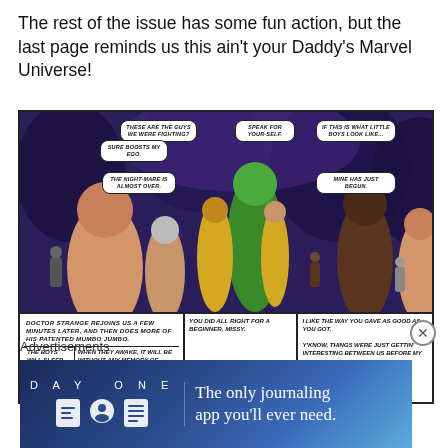The rest of the issue has some fun action, but the last page reminds us this ain't your Daddy's Marvel Universe!
[Figure (illustration): Comic book panel showing the Hulk, Wolverine, and other Marvel characters facing a group of shirtless boys in a dark purple forest setting. Multiple speech bubbles read: THESE ARE THE GUYS WE WERE FIGHTING? / SURE BOOSTS MY EGO. / THE NIGHTMARE IS ALMOST OVER. / SPEAK FOR YOURSELF. / IF THIS IS WHAT LITTLE BOYS LOOK LIKE... / MINE HAS JUST BEGUN. Below are caption boxes: DOCTOR STRANGE REJOINS US A FEW MINUTES LATER, AND THEN DOES MORE OF HIS PATENTED MUMBO JUMBO. / THE BOYS WILL SLEEP FOR NOW. / WHEN THEY AWAKE, IT WILL BE WITHOUT ANY MEMORY OF THESE EVENTS. / YOU DID ALL RIGHT FOR A BEGINNER, MISSY. / I LIKE THE WAY YOU GAVE AS GOOD AS YOU GOT. / Y'KNOW, THINGS WERE JUST GETTIN' INTERESTING BETWEEN US BEFORE MY]
Advertisements
[Figure (illustration): Day One journaling app advertisement banner with blue gradient background, DAY ONE text, icons, and tagline 'The only journaling app you'll ever need.']